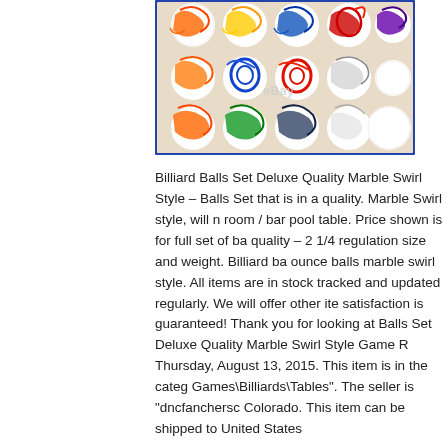[Figure (photo): A set of colorful marble swirl billiard balls arranged in a rack on a light background, with an eBay watermark. The balls display various colors including orange, yellow, blue, red, green, purple, and black swirl patterns on white backgrounds, plus one plain white cue ball.]
Billiard Balls Set Deluxe Quality Marble Swirl Style – Balls Set that is in a quality. Marble Swirl style, will room / bar pool table. Price shown is for full set of b quality – 2 1/4 regulation size and weight. Billiard ba ounce balls marble swirl style. All items are in stock tracked and updated regularly. We will offer other ite satisfaction is guaranteed! Thank you for looking at Balls Set Deluxe Quality Marble Swirl Style Game R Thursday, August 13, 2015. This item is in the categ Games\Billiards\Tables". The seller is "dncfanchersc Colorado. This item can be shipped to United States